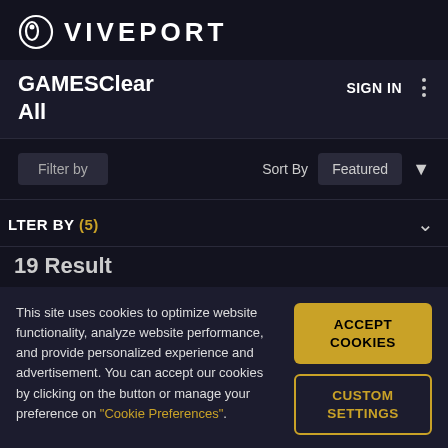VIVEPORT
GAMESClear
All
SIGN IN
Filter by    Sort By  Featured
FILTER BY (5)
19 Result
This site uses cookies to optimize website functionality, analyze website performance, and provide personalized experience and advertisement. You can accept our cookies by clicking on the button or manage your preference on "Cookie Preferences".
ACCEPT COOKIES
CUSTOM SETTINGS